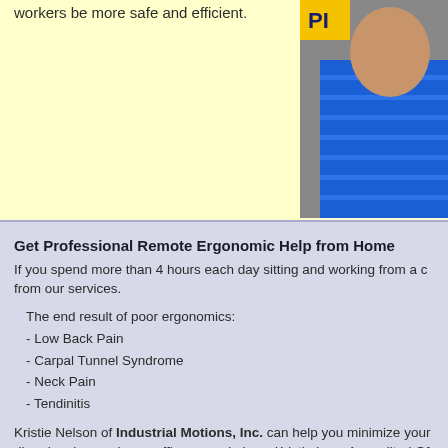workers be more safe and efficient.
[Figure (photo): Person wearing a blue striped shirt, partially visible on the right side of the top section, with a yellow sign/badge partially visible.]
Get Professional Remote Ergonomic Help from Home
If you spend more than 4 hours each day sitting and working from a computer, you can benefit from our services.
The end result of poor ergonomics:
- Low Back Pain
- Carpal Tunnel Syndrome
- Neck Pain
- Tendinitis
Kristie Nelson of Industrial Motions, Inc. can help you minimize your risk of developing musculoskeletal disorders in your home office or workplace. Kristie is an Accredited Office Ergonomics Evaluator from North Carolina State University. Kristie can provide you with comprehensive ergonomic assessments.
You can fill out the form at the right - Kristie will respond quickly. She will ask you for 3-4 good photos of you working at your home office or work situation and give you active recommendations on a phone call to help your situation. Quick feedback and modifications to your work station will help you be more productive.
We use a flat fee of $125 for this service.